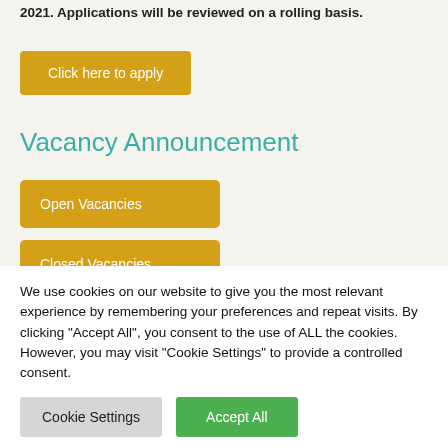2021. Applications will be reviewed on a rolling basis.
Click here to apply
Vacancy Announcement
Open Vacancies
Closed Vacancies
We use cookies on our website to give you the most relevant experience by remembering your preferences and repeat visits. By clicking "Accept All", you consent to the use of ALL the cookies. However, you may visit "Cookie Settings" to provide a controlled consent.
Cookie Settings
Accept All